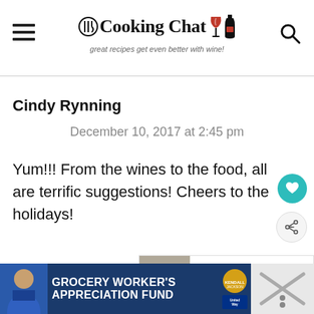Cooking Chat — great recipes get even better with wine!
Cindy Rynning
December 10, 2017 at 2:45 pm
Yum!!! From the wines to the food, all are terrific suggestions! Cheers to the holidays!
[Figure (infographic): WHAT'S NEXT panel with thumbnail image and text: Merlot Food Pairing: Tips...]
[Figure (infographic): Advertisement banner: GROCERY WORKER'S APPRECIATION FUND with Kendall-Jackson and United Way logos]